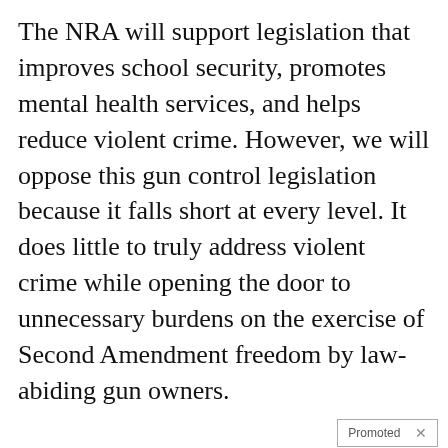The NRA will support legislation that improves school security, promotes mental health services, and helps reduce violent crime. However, we will oppose this gun control legislation because it falls short at every level. It does little to truly address violent crime while opening the door to unnecessary burdens on the exercise of Second Amendment freedom by law-abiding gun owners.
[Figure (photo): Promoted ad: cemetery with crosses and desert landscape with play button overlay. Title: Everyone Who Believes In God Should Watch This. It Will Blow Your Mind. Views: 2,855,732]
Everyone Who Believes In God Should Watch This. It Will Blow Your Mind
[Figure (photo): Promoted ad: elderly person sitting on bed in dim room. Title: How Your Body Warns You That Dementia Is Forming. Views: 62,902]
How Your Body Warns You That Dementia Is Forming